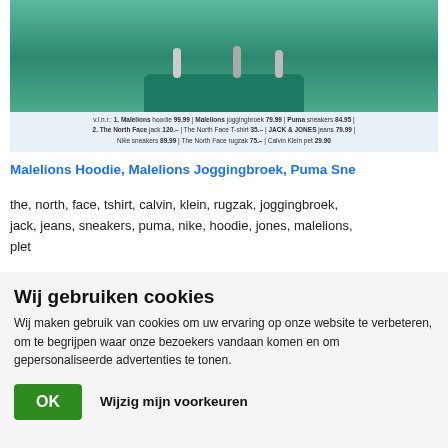[Figure (photo): Fashion photo showing people on a teal/green podium with clothing and accessories. Below the image is a caption listing product names and prices.]
v.l.n.r.: 1. Malelions hoodie 99.99 | Malelions joggingbroek 79.99 | Puma sneakers 84.95 | 2. The North Face jack 120.– | The North Face T-shirt 35.– | JACK & JONES jeans 79.99 | Nike sneakers 89.99 | The North Face rugzak 75.– | Calvin Klein pet 29.90
Malelions Hoodie, Malelions Joggingbroek, Puma Sne
the, north, face, tshirt, calvin, klein, rugzak, joggingbroek, jack, jeans, sneakers, puma, nike, hoodie, jones, malelions, plet
Wij gebruiken cookies
Wij maken gebruik van cookies om uw ervaring op onze website te verbeteren, om te begrijpen waar onze bezoekers vandaan komen en om gepersonaliseerde advertenties te tonen.
OK   Wijzig mijn voorkeuren